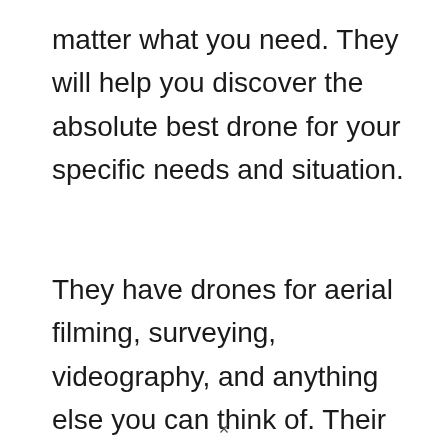matter what you need. They will help you discover the absolute best drone for your specific needs and situation.
They have drones for aerial filming, surveying, videography, and anything else you can think of. Their product range satisfies many needs and if you need